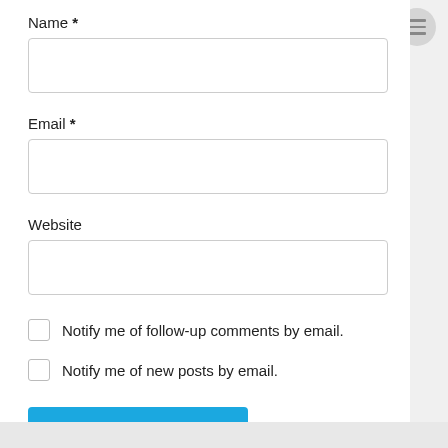Name *
Email *
Website
Notify me of follow-up comments by email.
Notify me of new posts by email.
POST COMMENT